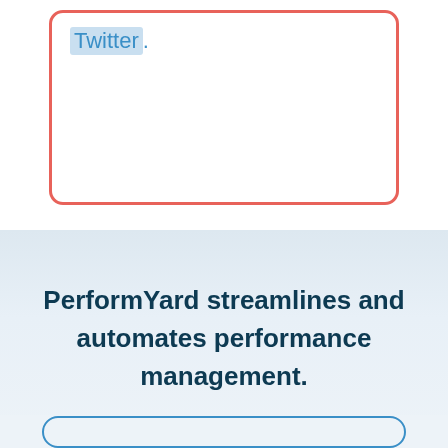[Figure (screenshot): A card with a red/coral border containing the word 'Twitter.' styled as a hyperlink with blue text and a light blue highlight/selection background. The card is mostly empty below the text.]
PerformYard streamlines and automates performance management.